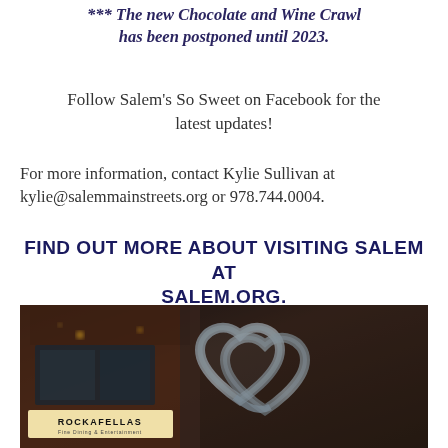*** The new Chocolate and Wine Crawl has been postponed until 2023.
Follow Salem's So Sweet on Facebook for the latest updates!
For more information, contact Kylie Sullivan at kylie@salemmainstreets.org or 978.744.0004.
FIND OUT MORE ABOUT VISITING SALEM AT SALEM.ORG.
[Figure (photo): Photo of an ice sculpture in the shape of two intertwined hearts in front of the Rockafellas restaurant storefront.]